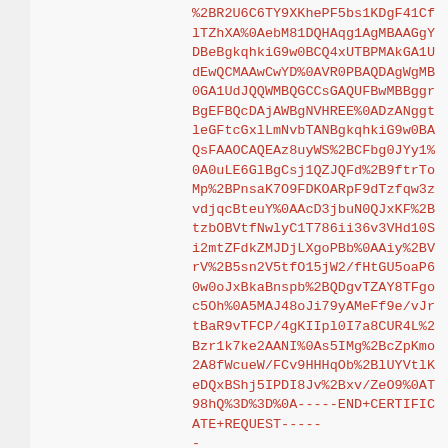%2BR2U6C6TY9XKhePF5bslKDgF41CflTZhXA%0AebM81DQHAqg1AgMBAAGgYDBeBgkqhkiG9w0BCQ4xUTBPMAkGA1UdEwQCMAAwCwYD%0AVR0PBAQDAgWgMB0GA1UdJQQWMBQGCCsGAQUFBwMBBggrBgEFBQcDAjAWBgNVHREE%0ADzANggtleGFtcGxlLmNvbTANBgkqhkiG9w0BAQsFAAOCAQEAz8uyWS%2BCFbg0JYy1%0A0uLE6GlBgCsj1QZJQFd%2B9ftrToMp%2BPnsaK7O9FDKOARpF9dTzfqw3zvdjqcBteuY%0AAcD3jbuN0QJxKF%2BtzbOBVtfNwlyC1T786ii36v3VHd10Si2mtZFdkZMJDjLXgoPBb%0AAiy%2BVrV%2B5sn2V5tfO15jW2/fHtGU5oaP60w0oJxBkaBnspb%2BQDgvTZAY8TFgoc5Oh%0A5MAJ48oJi79yAMeFf9e/vJrtBaR9vTFCP/4gKIIpl0I7a8CUR4L%2Bzr1k7ke2AANI%0As5IMg%2BcZpKmo2A8fWcueW/FCv9HHHqOb%2BlUYVtlKeDQxBShj5IPDI8Jv%2Bxv/ZeO9%0AT98hQ%3D%3D%0A-----END+CERTIFICATE+REQUEST-----
&AdminEmailAddress=email%40example.com&WebServerType=apacheopenssl&ApproverEmail=HTTPCSRHASH&DNSNames=secure.example.com%2C+login.example.com&DNSApproverEmails=CNAMECSRHASH%2C+admin%40